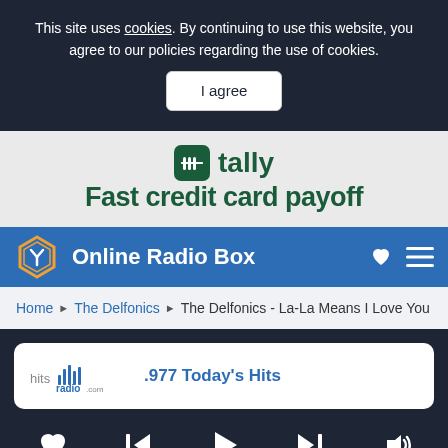This site uses cookies. By continuing to use this website, you agree to our policies regarding the use of cookies.
I agree
[Figure (illustration): Tally app advertisement banner with green Tally logo icon and text: tally / Fast credit card payoff]
Online Radio Box
Home > The Delfonics > The Delfonics - La-La Means I Love You
.977 Today's Hits
[Figure (illustration): Music player controls: heart, skip back, play, skip forward, volume]